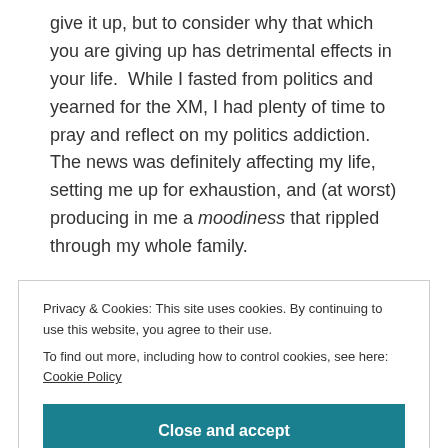give it up, but to consider why that which you are giving up has detrimental effects in your life.  While I fasted from politics and yearned for the XM, I had plenty of time to pray and reflect on my politics addiction.  The news was definitely affecting my life, setting me up for exhaustion, and (at worst) producing in me a moodiness that rippled through my whole family.

I decided that once Lent came to an end, I would limit
Privacy & Cookies: This site uses cookies. By continuing to use this website, you agree to their use.
To find out more, including how to control cookies, see here: Cookie Policy
Close and accept